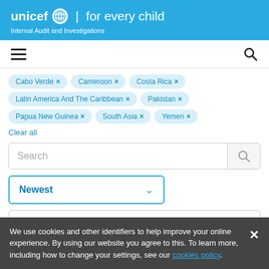unicef for every child | Internal Audit and Investigations
[Figure (screenshot): Navigation bar with hamburger menu icon on left and search icon on right]
Cabo Verde ×
Cameroon ×
Costa Rica ×
Latin America And The Caribbean ×
Pakistan ×
Papua New Guinea ×
South Asia ×
Yemen ×
Clear all
Search
Newest
Locations  8 Selected ×
We use cookies and other identifiers to help improve your online experience. By using our website you agree to this. To learn more, including how to change your settings, see our cookies policy.